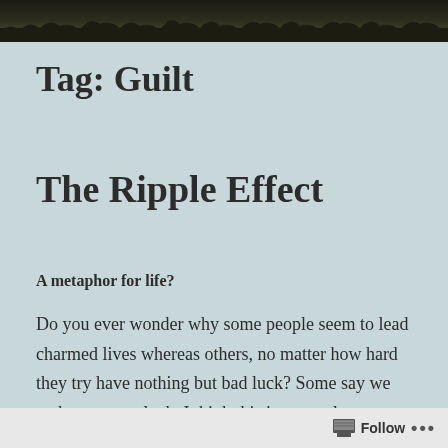[Figure (photo): Dark header photo showing grass or field in low light]
Tag: Guilt
The Ripple Effect
A metaphor for life?
Do you ever wonder why some people seem to lead charmed lives whereas others, no matter how hard they try have nothing but bad luck? Some say we make our own luck. I think this is true only up to a point. The truth is shit happens to good people. And what about the
Follow ...